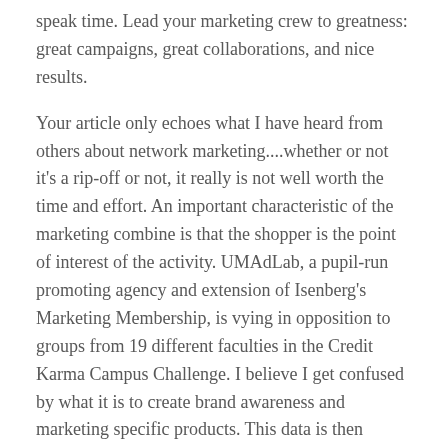speak time. Lead your marketing crew to greatness: great campaigns, great collaborations, and nice results.
Your article only echoes what I have heard from others about network marketing....whether or not it's a rip-off or not, it really is not well worth the time and effort. An important characteristic of the marketing combine is that the shopper is the point of interest of the activity. UMAdLab, a pupil-run promoting agency and extension of Isenberg's Marketing Membership, is vying in opposition to groups from 19 different faculties in the Credit Karma Campus Challenge. I believe I get confused by what it is to create brand awareness and marketing specific products. This data is then utilized by managers to plan marketing actions, gauge the character of a firm's marketing environment, attain info from suppliers, and so on. The SIVA Model provides a requirement/customer centric model alternative to the well-known 4Ps provide side model (product, price,